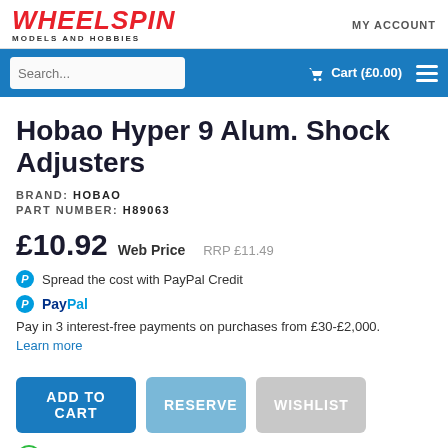[Figure (logo): Wheelspin Models and Hobbies logo in red italic bold font with 'MODELS AND HOBBIES' subtitle]
MY ACCOUNT
Hobao Hyper 9 Alum. Shock Adjusters
BRAND: HOBAO
PART NUMBER: H89063
£10.92 Web Price   RRP £11.49
Spread the cost with PayPal Credit
PayPal Pay in 3 interest-free payments on purchases from £30-£2,000. Learn more
ADD TO CART   RESERVE   WISHLIST
SHADOW STOCK: USUALLY SHIPS WITHIN 2 DAYS